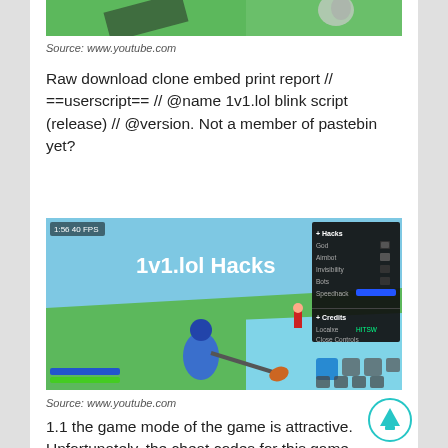[Figure (screenshot): Partial view of a game screenshot at the top of the page (cropped)]
Source: www.youtube.com
Raw download clone embed print report // ==userscript== // @name 1v1.lol blink script (release) // @version. Not a member of pastebin yet?
[Figure (screenshot): Screenshot of 1v1.lol game showing a blue character holding a weapon with '1v1.lol Hacks' text and a hacks control panel overlay on the right side]
Source: www.youtube.com
1.1 the game mode of the game is attractive. Unfortunately, the cheat codes for this game